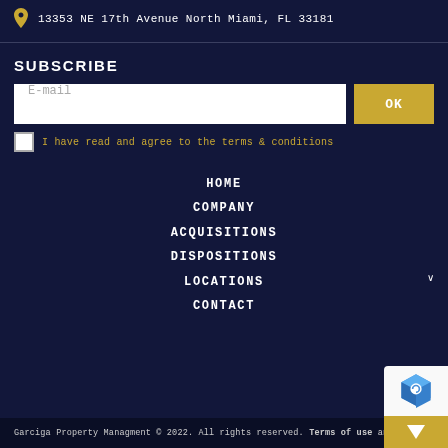13353 NE 17th Avenue North Miami, FL 33181
SUBSCRIBE
E-mail
OK
I have read and agree to the terms & conditions
HOME
COMPANY
ACQUISITIONS
DISPOSITIONS
LOCATIONS
CONTACT
Garciga Property Managment © 2022. All rights reserved. Terms of use and Priv...